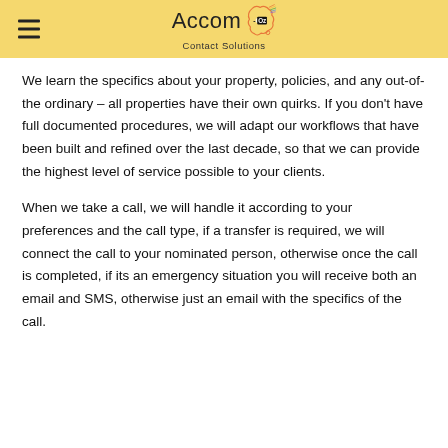Accom-Oz Contact Solutions
We learn the specifics about your property, policies, and any out-of-the ordinary – all properties have their own quirks. If you don't have full documented procedures, we will adapt our workflows that have been built and refined over the last decade, so that we can provide the highest level of service possible to your clients.
When we take a call, we will handle it according to your preferences and the call type, if a transfer is required, we will connect the call to your nominated person, otherwise once the call is completed, if its an emergency situation you will receive both an email and SMS, otherwise just an email with the specifics of the call.